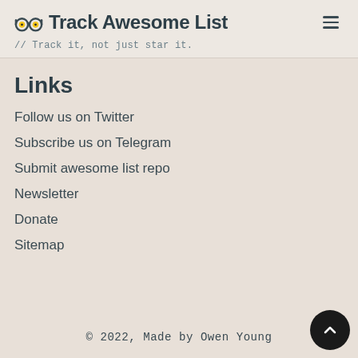Track Awesome List // Track it, not just star it.
Links
Follow us on Twitter
Subscribe us on Telegram
Submit awesome list repo
Newsletter
Donate
Sitemap
© 2022, Made by Owen Young